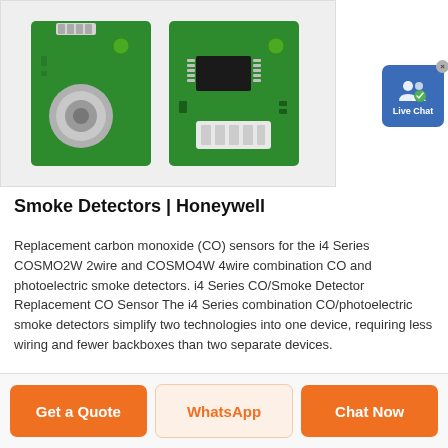[Figure (photo): Two green PCB circuit boards for CO/Smoke detectors. Left board shows a circular CO sensor element, right board shows an IC chip and connector. Both on a light grey background.]
Smoke Detectors | Honeywell
Replacement carbon monoxide (CO) sensors for the i4 Series COSMO2W 2wire and COSMO4W 4wire combination CO and photoelectric smoke detectors. i4 Series CO/Smoke Detector Replacement CO Sensor The i4 Series combination CO/photoelectric smoke detectors simplify two technologies into one device, requiring less wiring and fewer backboxes than two separate devices.
Get a Quote
WhatsApp
Chat Now